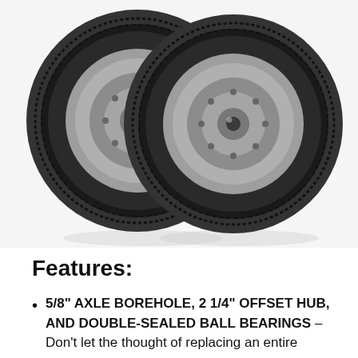[Figure (photo): Two black rubber tires with silver metal rims (flat-free / solid foam tires), side by side on a white background. The tires have a honeycomb/knobby tread pattern and visible hub bearings in the center.]
Features:
5/8” AXLE BOREHOLE, 2 1/4” OFFSET HUB, AND DOUBLE-SEALED BALL BEARINGS – Don’t let the thought of replacing an entire